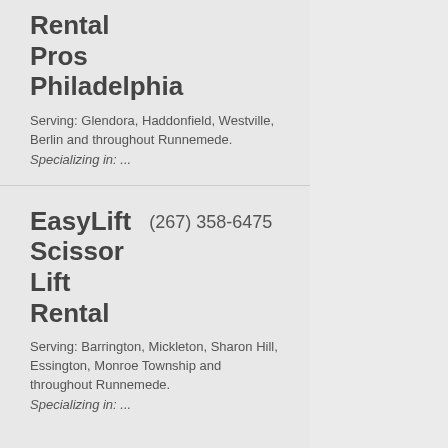Rental Pros Philadelphia
Serving: Glendora, Haddonfield, Westville, Berlin and throughout Runnemede.
Specializing in: ...
EasyLift Scissor Lift Rental
(267) 358-6475
Serving: Barrington, Mickleton, Sharon Hill, Essington, Monroe Township and throughout Runnemede.
Specializing in: ...